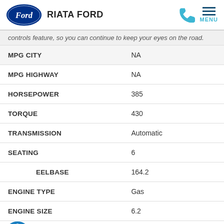[Figure (logo): Ford oval blue logo with 'Ford' script in white, followed by text 'RIATA FORD', phone icon and hamburger menu with MENU label]
controls feature, so you can continue to keep your eyes on the road.
| MPG CITY | NA |
| MPG HIGHWAY | NA |
| HORSEPOWER | 385 |
| TORQUE | 430 |
| TRANSMISSION | Automatic |
| SEATING | 6 |
| WHEELBASE | 164.2 |
| ENGINE TYPE | Gas |
| ENGINE SIZE | 6.2 |